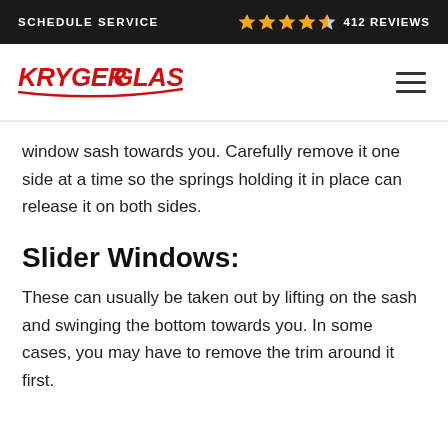SCHEDULE SERVICE  ★★★★☆ 412 REVIEWS
[Figure (logo): Kryger Glass logo in red with a red swoosh/underline and hamburger menu icon on the right]
window sash towards you. Carefully remove it one side at a time so the springs holding it in place can release it on both sides.
Slider Windows:
These can usually be taken out by lifting on the sash and swinging the bottom towards you. In some cases, you may have to remove the trim around it first.